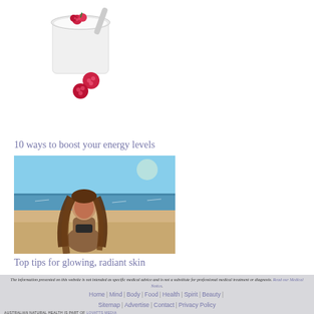[Figure (photo): Yogurt cup with raspberries on top and beside it]
10 ways to boost your energy levels
[Figure (photo): Woman with long brown hair standing on a beach, looking up, wearing a dark bikini top, ocean in background]
Top tips for glowing, radiant skin
The information presented on this website is not intended as specific medical advice and is not a substitute for professional medical treatment or diagnosis. Read our Medical Notice. Home | Mind | Body | Food | Health | Spirit | Beauty | Sitemap | Advertise | Contact | Privacy Policy AUSTRALIAN NATURAL HEALTH IS PART OF LOVATTS MEDIA © 2018 LOVATTS MEDIA, PO BOX 995, TERRIGAL NSW 2260